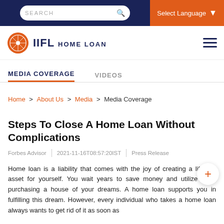SEARCH | Select Language
IIFL HOME LOAN
MEDIA COVERAGE | VIDEOS
Home > About Us > Media > Media Coverage
Steps To Close A Home Loan Without Complications
Forbes Advisor | 2021-11-16T08:57:20IST | Press Release
Home loan is a liability that comes with the joy of creating a lifetime asset for yourself. You wait years to save money and utilize it for purchasing a house of your dreams. A home loan supports you in fulfilling this dream. However, every individual who takes a home loan always wants to get rid of it as soon as